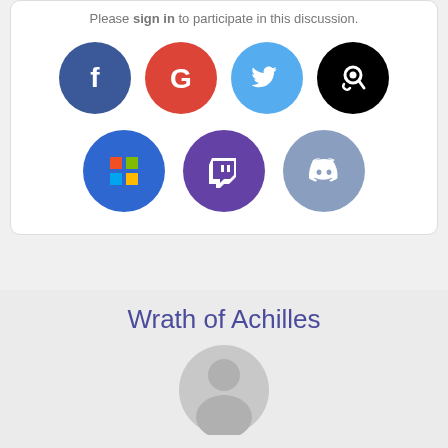Please sign in to participate in this discussion.
[Figure (infographic): Row of social login buttons: Facebook (blue circle with f), Google (red circle with G), Twitter (light blue circle with bird), Steam (black circle with steam logo), Microsoft (blue circle with Windows logo), Twitch (purple circle with Twitch logo), Discord (blue-grey circle with Discord logo)]
Wrath of Achilles
[Figure (photo): Generic user avatar silhouette (head and shoulders) in grey circle]